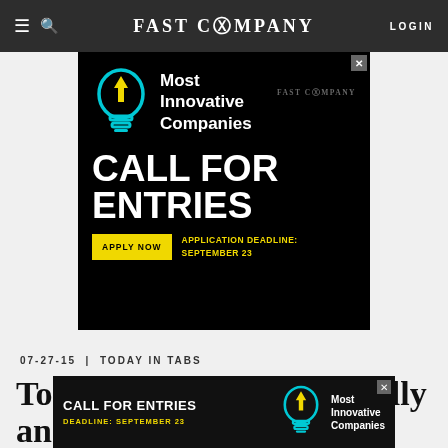FAST COMPANY  LOGIN
[Figure (infographic): Fast Company 'Most Innovative Companies — Call for Entries' advertisement banner. Black background with cyan lightbulb icon with upward arrow, white bold text reading 'Most Innovative Companies', large white bold text 'CALL FOR ENTRIES', yellow 'APPLY NOW' button, yellow text 'APPLICATION DEADLINE: SEPTEMBER 23'. Fast Company watermark in top right.]
07-27-15  |  TODAY IN TABS
Today in Tabs: Denton Folly and
[Figure (infographic): Fast Company bottom banner ad: 'CALL FOR ENTRIES' in white bold, 'DEADLINE: SEPTEMBER 23' in yellow, lightbulb icon, 'Most Innovative Companies' text in white on black background. X close button top right.]